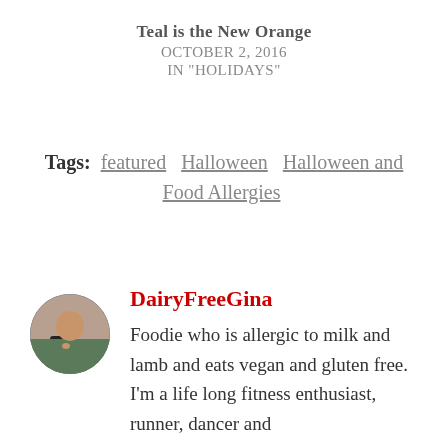Teal is the New Orange
OCTOBER 2, 2016
IN "HOLIDAYS"
Tags: featured   Halloween   Halloween and Food Allergies
[Figure (photo): Circular avatar photo of DairyFreeGina, a person eating something outdoors]
DairyFreeGina
Foodie who is allergic to milk and lamb and eats vegan and gluten free. I'm a life long fitness enthusiast, runner, dancer and